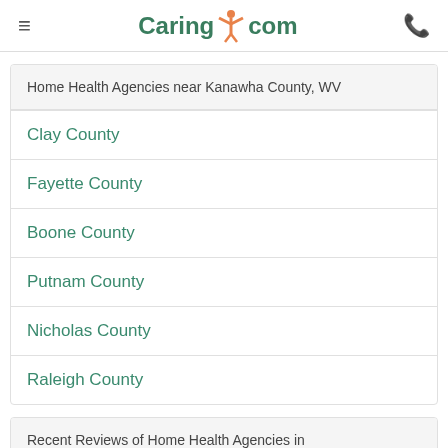Caring.com
Home Health Agencies near Kanawha County, WV
Clay County
Fayette County
Boone County
Putnam County
Nicholas County
Raleigh County
Recent Reviews of Home Health Agencies in Kanawha County